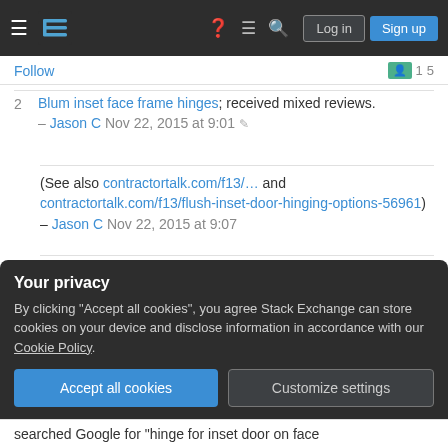Stack Exchange navigation bar with hamburger menu, logo, help, chat, search icons, Log in and Sign up buttons
Follow
2 Blum inset face frame hinges; received mixed reviews. – Jason C Nov 22, 2015 at 9:01
(See also contractortalk.com/f13/... and contractortalk.com/f13/flush-inset-door-hinging-options-56961) – Jason C Nov 22, 2015 at 9:07
@JasonC Sounds like an answer to me. – Matt Nov 22, 2015 at 15:46
2.25" is plenty of space for blum hinges or similar.
Your privacy
By clicking "Accept all cookies", you agree Stack Exchange can store cookies on your device and disclose information in accordance with our Cookie Policy.
Accept all cookies   Customize settings
searched Google for "hinge for inset door on face